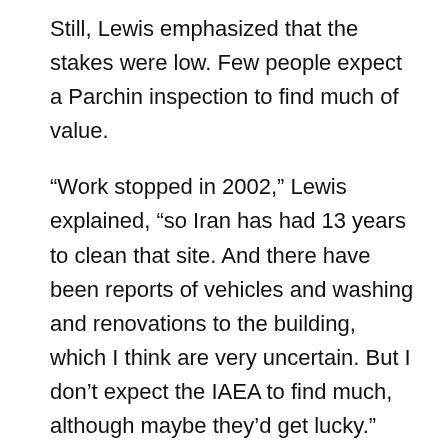Still, Lewis emphasized that the stakes were low. Few people expect a Parchin inspection to find much of value.
“Work stopped in 2002,” Lewis explained, “so Iran has had 13 years to clean that site. And there have been reports of vehicles and washing and renovations to the building, which I think are very uncertain. But I don’t expect the IAEA to find much, although maybe they’d get lucky.”
“No one should be willing to blow up this deal over access to this site,” he said. “Because we know what they did there, and there’s nothing we’re going to find out that’s going to